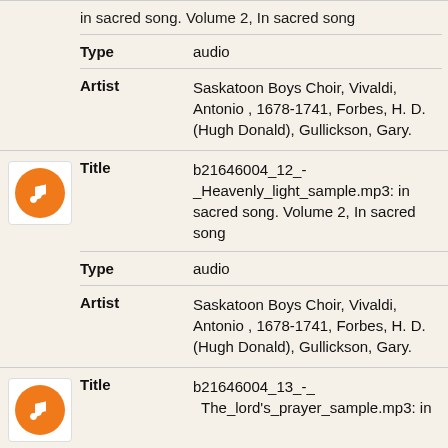in sacred song. Volume 2, In sacred song
| Field | Value |
| --- | --- |
| Type | audio |
| Artist | Saskatoon Boys Choir, Vivaldi, Antonio , 1678-1741, Forbes, H. D. (Hugh Donald), Gullickson, Gary. |
[Figure (illustration): Orange circle music note icon in a white rounded-corner box]
| Field | Value |
| --- | --- |
| Title | b21646004_12_-_Heavenly_light_sample.mp3: in sacred song. Volume 2, In sacred song |
| Type | audio |
| Artist | Saskatoon Boys Choir, Vivaldi, Antonio , 1678-1741, Forbes, H. D. (Hugh Donald), Gullickson, Gary. |
[Figure (illustration): Orange circle music note icon in a white rounded-corner box]
| Field | Value |
| --- | --- |
| Title | b21646004_13_-_The_lord's_prayer_sample.mp3: in |